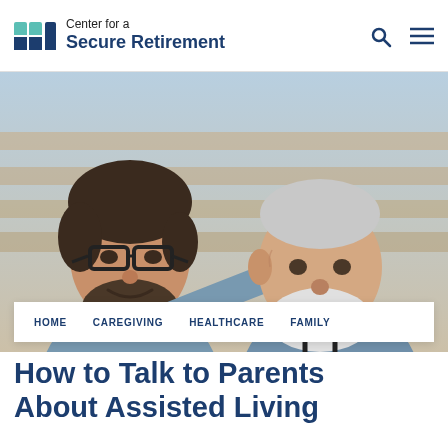Center for a Secure Retirement
[Figure (photo): A younger man with glasses and a beard smiling at an older man with a white beard, both appearing happy and engaged in conversation, sitting on stairs with a warm background.]
HOME   CAREGIVING   HEALTHCARE   FAMILY
How to Talk to Parents About Assisted Living